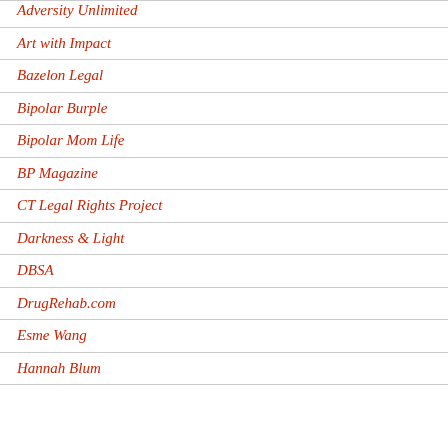Art with Impact
Bazelon Legal
Bipolar Burple
Bipolar Mom Life
BP Magazine
CT Legal Rights Project
Darkness & Light
DBSA
DrugRehab.com
Esme Wang
Hannah Blum